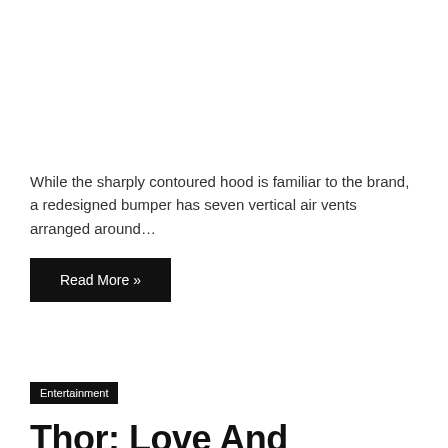While the sharply contoured hood is familiar to the brand, a redesigned bumper has seven vertical air vents arranged around…
Read More »
Entertainment
Thor: Love And Thunder Concept Art Reveals Deleted Jeff Goldblum Scene
1 week ago